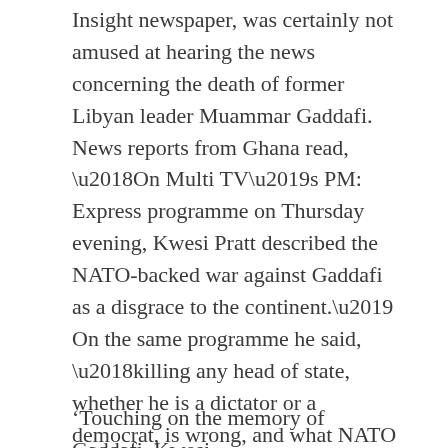Insight newspaper, was certainly not amused at hearing the news concerning the death of former Libyan leader Muammar Gaddafi. News reports from Ghana read, ‘On Multi TV’s PM: Express programme on Thursday evening, Kwesi Pratt described the NATO-backed war against Gaddafi as a disgrace to the continent.’ On the same programme he said, ‘killing any head of state, whether he is a dictator or a democrat, is wrong, and what NATO has done is appalling, it’s disgraceful and needs to be condemned in the strongest possible terms. This is an assassination, this is illegal and this is an act of terrorism…’[1]
‘Touching on the memory of Gaddafi, Kwesi